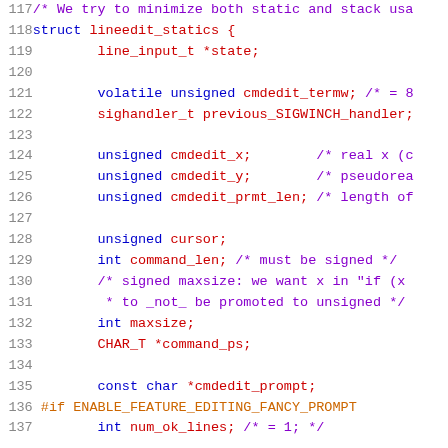[Figure (screenshot): C source code listing showing lines 117-137 of a lineedit_statics struct definition, with line numbers in gray on the left, keywords in blue, comments in purple, and identifiers in red on a white background.]